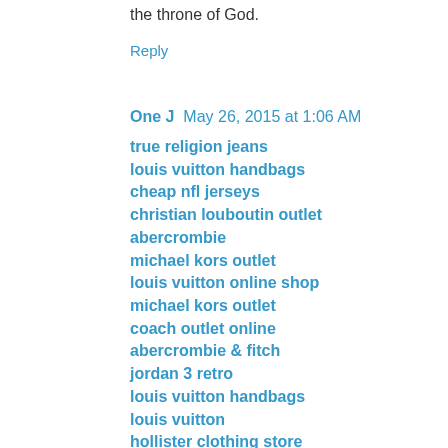the throne of God.
Reply
One J  May 26, 2015 at 1:06 AM
true religion jeans
louis vuitton handbags
cheap nfl jerseys
christian louboutin outlet
abercrombie
michael kors outlet
louis vuitton online shop
michael kors outlet
coach outlet online
abercrombie & fitch
jordan 3 retro
louis vuitton handbags
louis vuitton
hollister clothing store
true religion outlet
ray ban sungalss
kobe bryant shoes 2015